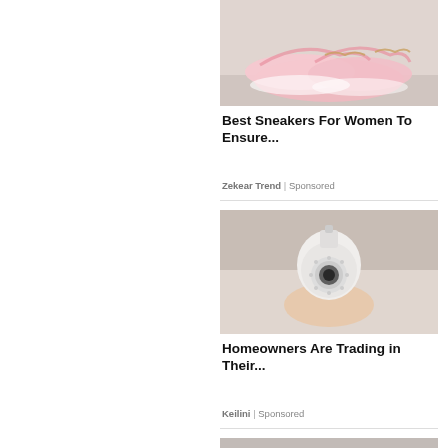[Figure (photo): Pink women's sneakers/slip-on shoes with chain ankle detail on a light background]
Best Sneakers For Women To Ensure...
Zekear Trend | Sponsored
[Figure (photo): Person holding a white dome security camera]
Homeowners Are Trading in Their...
Keilini | Sponsored
[Figure (photo): Partial image of a third sponsored item at bottom of page]